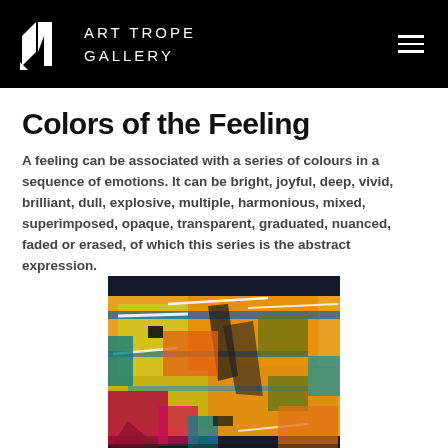ART TROPE GALLERY
Colors of the Feeling
A feeling can be associated with a series of colours in a sequence of emotions. It can be bright, joyful, deep, vivid, brilliant, dull, explosive, multiple, harmonious, mixed, superimposed, opaque, transparent, graduated, nuanced, faded or erased, of which this series is the abstract expression.
[Figure (illustration): Abstract colorful painting with orange, yellow, blue, red, and green geometric shapes and figures]